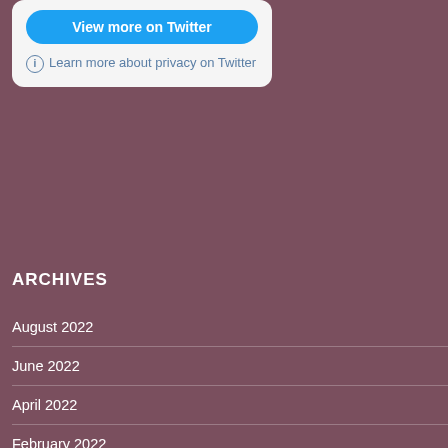[Figure (screenshot): Twitter embedded widget card with 'View more on Twitter' button and privacy info link]
ARCHIVES
August 2022
June 2022
April 2022
February 2022
September 2021
August 2021